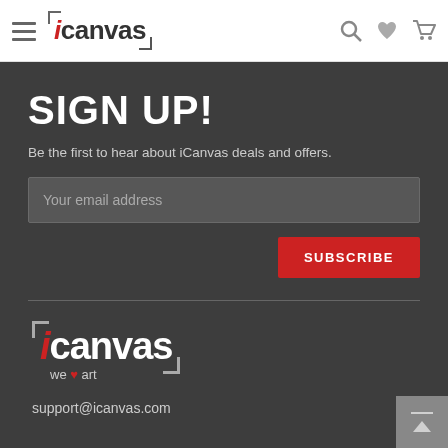[Figure (screenshot): iCanvas website header with hamburger menu, iCanvas logo, search icon, heart icon, and cart icon on white background]
SIGN UP!
Be the first to hear about iCanvas deals and offers.
[Figure (other): Email input field with placeholder 'Your email address' and red SUBSCRIBE button]
[Figure (logo): iCanvas 'we love art' logo in white with red heart on dark background]
support@icanvas.com